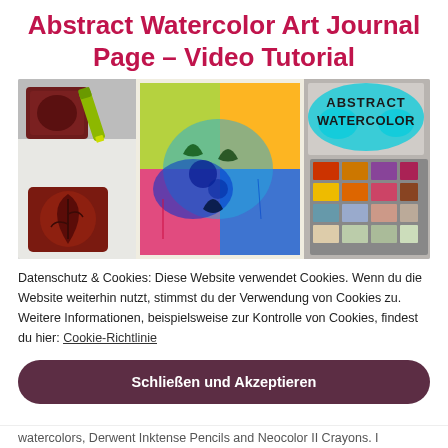Abstract Watercolor Art Journal Page – Video Tutorial
[Figure (photo): Watercolor art journal page with stamps, crayons, colorful abstract painting, and a watercolor palette. A cyan speech-bubble label reads ABSTRACT WATERCOLOR.]
Datenschutz & Cookies: Diese Website verwendet Cookies. Wenn du die Website weiterhin nutzt, stimmst du der Verwendung von Cookies zu.
Weitere Informationen, beispielsweise zur Kontrolle von Cookies, findest du hier: Cookie-Richtlinie
Schließen und Akzeptieren
watercolors, Derwent Inktense Pencils and Neocolor II Crayons. I